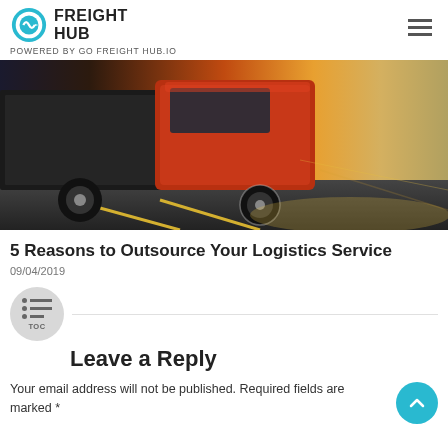GO FREIGHT HUB
POWERED BY GO FREIGHT HUB.IO
[Figure (photo): A large red freight truck speeding on a highway, dramatic lighting with golden and dark tones.]
5 Reasons to Outsource Your Logistics Service
09/04/2019
Leave a Reply
Your email address will not be published. Required fields are marked *